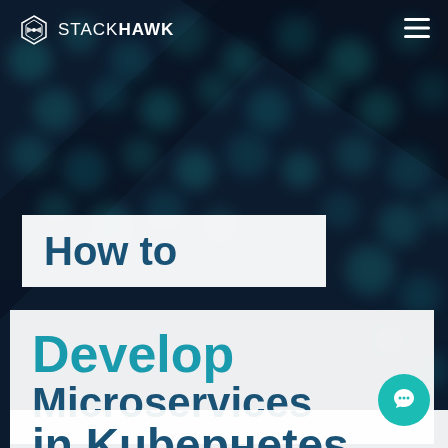STACKHAWK
How to Develop Microservices in Kubernetes
[Figure (screenshot): StackHawk website header with teal/dark blue hexagonal bokeh background, navigation bar with StackHawk logo and hamburger menu. Page title 'How to Develop Microservices in Kubernetes' displayed in white text boxes over the background. Teal chat button in bottom right corner.]